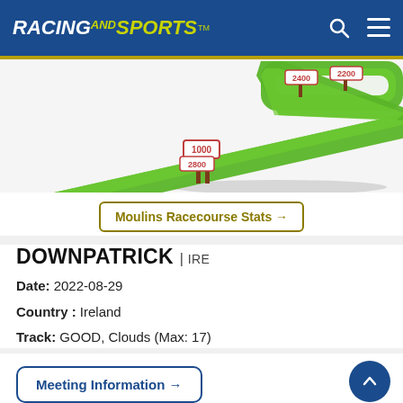RACING AND SPORTS
[Figure (illustration): Aerial 3D illustration of a horse racing track (Moulins Racecourse) with green turf, curved layout, and distance marker signs showing 1000, 2800, 2400, 2200 metres.]
Moulins Racecourse Stats →
DOWNPATRICK | IRE
Date: 2022-08-29
Country : Ireland
Track: GOOD, Clouds (Max: 17)
Meeting Information →